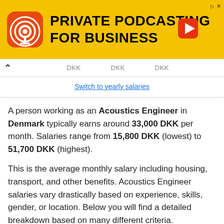[Figure (screenshot): Advertisement banner for Private Podcasting for Business on yellow background with podcast app icon and play button]
DKK   DKK   DKK
Switch to yearly salaries
A person working as an Acoustics Engineer in Denmark typically earns around 33,000 DKK per month. Salaries range from 15,800 DKK (lowest) to 51,700 DKK (highest).
This is the average monthly salary including housing, transport, and other benefits. Acoustics Engineer salaries vary drastically based on experience, skills, gender, or location. Below you will find a detailed breakdown based on many different criteria.